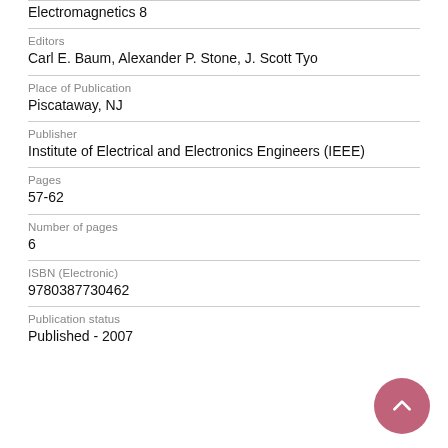Electromagnetics 8
Editors
Carl E. Baum, Alexander P. Stone, J. Scott Tyo
Place of Publication
Piscataway, NJ
Publisher
Institute of Electrical and Electronics Engineers (IEEE)
Pages
57-62
Number of pages
6
ISBN (Electronic)
9780387730462
Publication status
Published - 2007